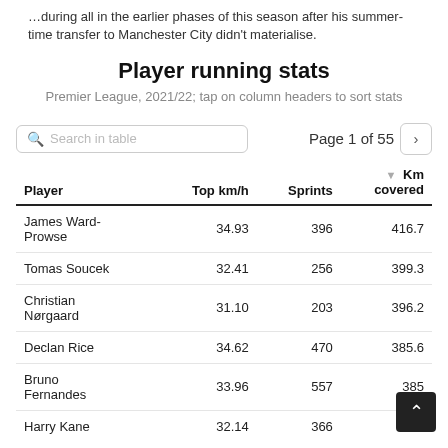…during all in the earlier phases of this season after his summer-time transfer to Manchester City didn't materialise.
Player running stats
Premier League, 2021/22; tap on column headers to sort stats
| Player | Top km/h | Sprints | Km covered |
| --- | --- | --- | --- |
| James Ward-Prowse | 34.93 | 396 | 416.7 |
| Tomas Soucek | 32.41 | 256 | 399.3 |
| Christian Nørgaard | 31.10 | 203 | 396.2 |
| Declan Rice | 34.62 | 470 | 385.6 |
| Bruno Fernandes | 33.96 | 557 | 385… |
| Harry Kane | 32.14 | 366 | 384… |